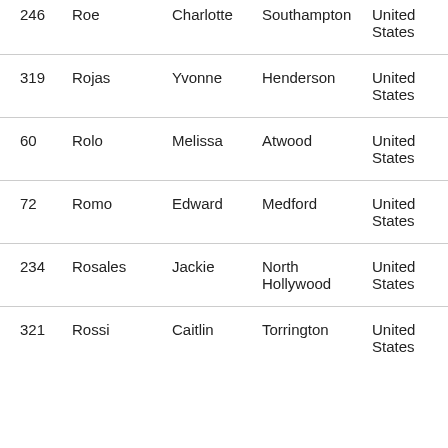| 246 | Roe | Charlotte | Southampton | United States |
| 319 | Rojas | Yvonne | Henderson | United States |
| 60 | Rolo | Melissa | Atwood | United States |
| 72 | Romo | Edward | Medford | United States |
| 234 | Rosales | Jackie | North Hollywood | United States |
| 321 | Rossi | Caitlin | Torrington | United States |